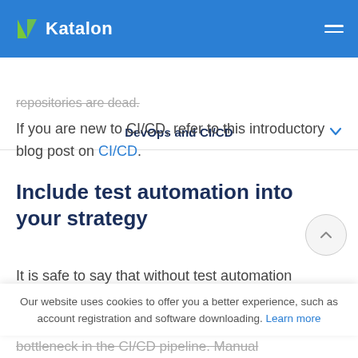Katalon
DevOps and CI/CD
repositories are dead.
If you are new to CI/CD, refer to this introductory blog post on CI/CD.
Include test automation into your strategy
It is safe to say that without test automation
Our website uses cookies to offer you a better experience, such as account registration and software downloading. Learn more
bottleneck in the CI/CD pipeline. Manual